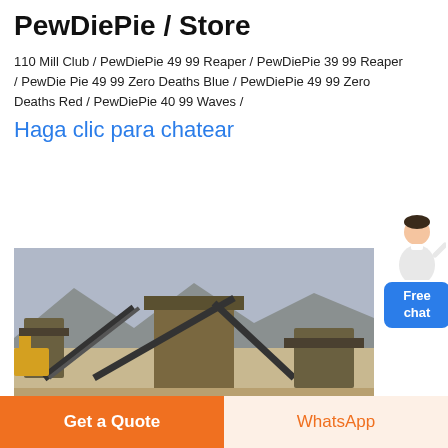PewDiePie / Store
110 Mill Club / PewDiePie 49 99 Reaper / PewDiePie 39 99 Reaper / PewDiePie 49 99 Zero Deaths Blue / PewDiePie 49 99 Zero Deaths Red / PewDiePie 40 99 Waves /
Haga clic para chatear
[Figure (photo): Industrial mining or quarry plant with conveyor belts and heavy machinery against a grey sky with mountains in the background]
Get a Quote
WhatsApp